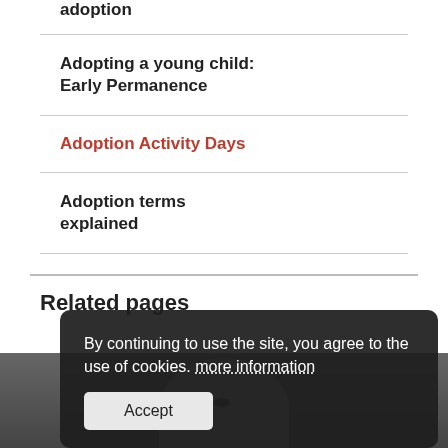adoption
Adopting a young child: Early Permanence
Adoption Activity Days
Adoption terms explained
Related pages
By continuing to use the site, you agree to the use of cookies. more information
Accept